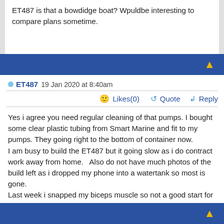ET487 is that a bowdidge boat? Wpuldbe interesting to compare plans sometime.
ET487 19 Jan 2020 at 8:40am
Likes(0)  Quote  Reply
Yes i agree you need regular cleaning of that pumps. I bought some clear plastic tubing from Smart Marine and fit to my pumps. They going right to the bottom of container now.
I am busy to build the ET487 but it going slow as i do contract work away from home.   Also do not have much photos of the build left as i dropped my phone into a watertank so most is gone.
Last week i snapped my biceps muscle so not a good start for year either, lol but iwill get to the end sometime.
Good luck with your build.